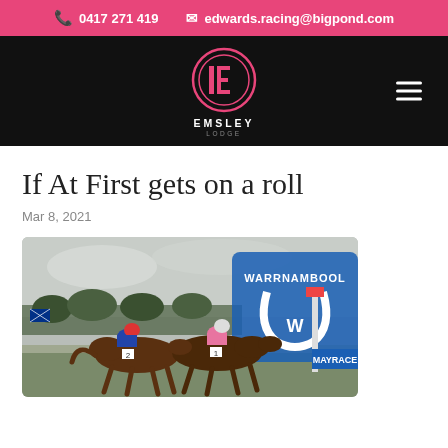0417 271 419  edwards.racing@bigpond.com
[Figure (logo): Emsley Lodge logo: pink circle with stylized IE letters, text EMSLEY LODGE below, on black background with hamburger menu icon]
If At First gets on a roll
Mar 8, 2021
[Figure (photo): Horse race photo at Warrnambool racecourse. Two horses racing neck-and-neck near the finish line, jockeys in blue/white and pink silks respectively, with the Warrnambool logo sign visible in blue in the background. MAYRACE signage visible on right.]